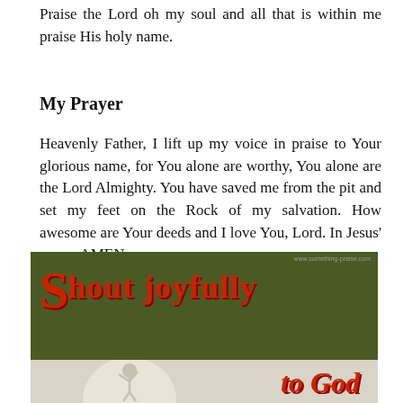Praise the Lord oh my soul and all that is within me praise His holy name.
My Prayer
Heavenly Father, I lift up my voice in praise to Your glorious name, for You alone are worthy, You alone are the Lord Almighty. You have saved me from the pit and set my feet on the Rock of my salvation. How awesome are Your deeds and I love You, Lord. In Jesus' name, AMEN.
[Figure (illustration): Dark olive green banner with large red stylized text reading 'Shout joyfully to God', with a partial circular illustration at the bottom showing a figure with raised arms on a light background. Watermark visible in top right corner.]